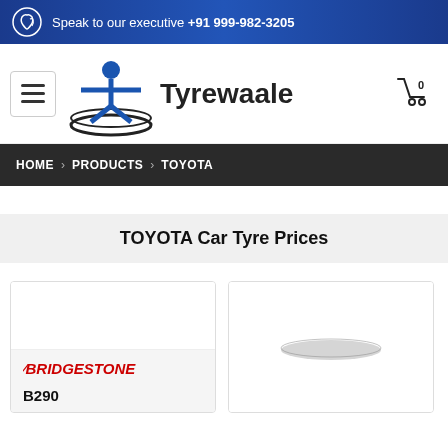Speak to our executive +91 999-982-3205
[Figure (logo): Tyrewaale logo with human figure icon and brand name]
HOME > PRODUCTS > TOYOTA
TOYOTA Car Tyre Prices
[Figure (photo): Bridgestone B290 tyre product card with brand logo and model name]
[Figure (photo): Second tyre product card showing tyre image]